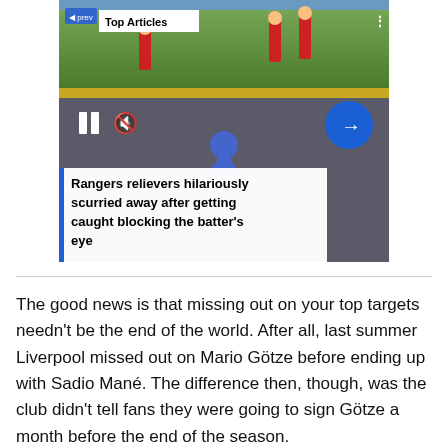[Figure (screenshot): Video card showing baseball players at a stadium outfield wall with 'Top Articles' badge, pause and mute controls, and a blue arrow button.]
Rangers relievers hilariously scurried away after getting caught blocking the batter's eye
The good news is that missing out on your top targets needn't be the end of the world. After all, last summer Liverpool missed out on Mario Götze before ending up with Sadio Mané. The difference then, though, was the club didn't tell fans they were going to sign Götze a month before the end of the season.